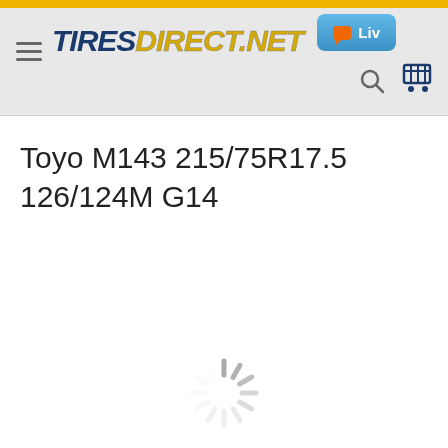TIRESDIRECT.NET — Liv (live chat) — navigation bar
Toyo M143 215/75R17.5 126/124M G14
[Figure (other): Loading spinner (animated loading indicator) centered on the page]